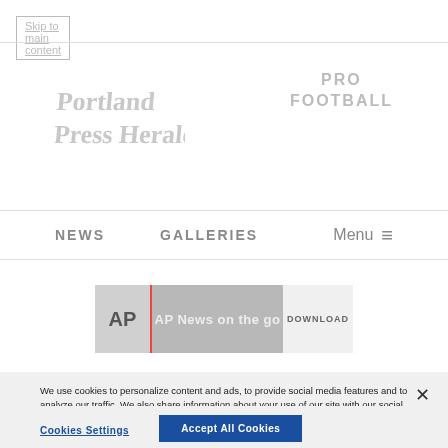Skip to main content
[Figure (logo): Portland Press Herald newspaper logo in light gray]
PRO FOOTBALL
NEWS   GALLERIES   Menu
[Figure (photo): AP News on the go advertisement banner with silhouettes of people and a DOWNLOAD button]
We use cookies to personalize content and ads, to provide social media features and to analyze our traffic. We also share information about your use of our site with our social media, advertising and analytics partners. Privacy Policy
Cookies Settings
Accept All Cookies